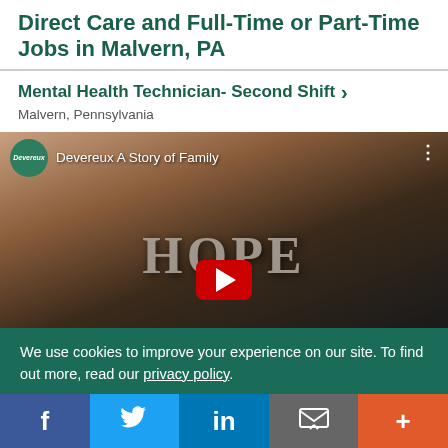Direct Care and Full-Time or Part-Time Jobs in Malvern, PA
Mental Health Technician- Second Shift
Malvern, Pennsylvania
[Figure (screenshot): Embedded YouTube video thumbnail showing 'Devereux A Story of Family' with Devereux logo badge, HOPE letters visible, and red play button]
We use cookies to improve your experience on our site. To find out more, read our privacy policy.
[Figure (infographic): Social media sharing bar with Facebook, Twitter, LinkedIn, Email, and More buttons]